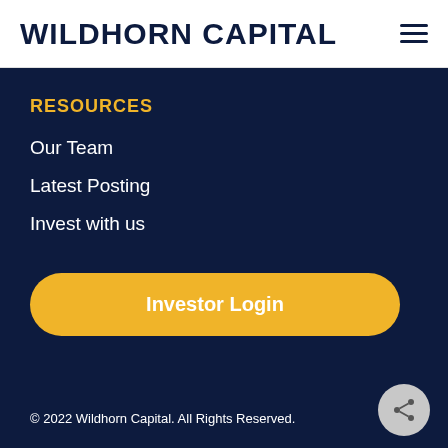WILDHORN CAPITAL
RESOURCES
Our Team
Latest Posting
Invest with us
Investor Login
© 2022 Wildhorn Capital. All Rights Reserved.